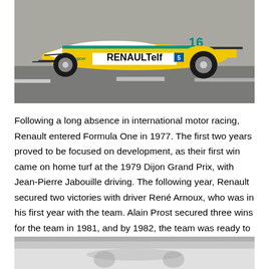[Figure (photo): A yellow and white Renault Formula One car with number 16 and RENAULT elf livery, photographed on a race circuit. The car features the Renault and elf branding prominently on the bodywork.]
Following a long absence in international motor racing, Renault entered Formula One in 1977. The first two years proved to be focused on development, as their first win came on home turf at the 1979 Dijon Grand Prix, with Jean-Pierre Jabouille driving. The following year, Renault secured two victories with driver René Arnoux, who was in his first year with the team. Alain Prost secured three wins for the team in 1981, and by 1982, the team was ready to be even more competitive.
[Figure (photo): Partial view of another photograph, showing a light gray/white background scene, partially cropped at the bottom of the page.]